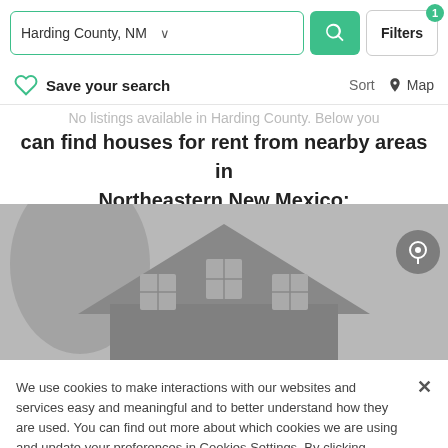Harding County, NM — Filters (1)
Save your search  Sort  Map
No listings available in Harding County. Below you can find houses for rent from nearby areas in Northeastern New Mexico:
[Figure (photo): Grayscale photo of a house rooftop with a triangular gable and trees in the background]
We use cookies to make interactions with our websites and services easy and meaningful and to better understand how they are used. You can find out more about which cookies we are using and update your preferences in Cookies Settings. By clicking "Accept All Cookies," you are agreeing to our use of cookies. Cookie Notice
Cookies Settings  Accept All Cookies